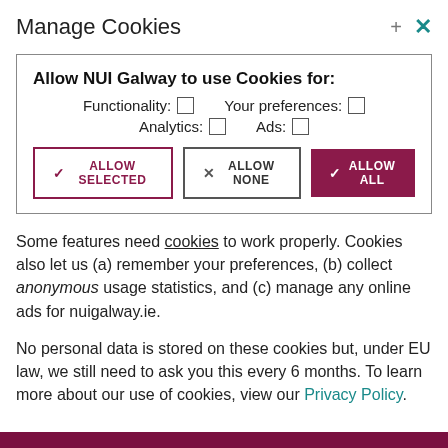Manage Cookies
Allow NUI Galway to use Cookies for: Functionality: ☐  Your preferences: ☐  Analytics: ☐  Ads: ☐
ALLOW SELECTED  ALLOW NONE  ALLOW ALL
Some features need cookies to work properly. Cookies also let us (a) remember your preferences, (b) collect anonymous usage statistics, and (c) manage any online ads for nuigalway.ie.
No personal data is stored on these cookies but, under EU law, we still need to ask you this every 6 months. To learn more about our use of cookies, view our Privacy Policy.
ABOUT UNIVERSITY OF GALWAY